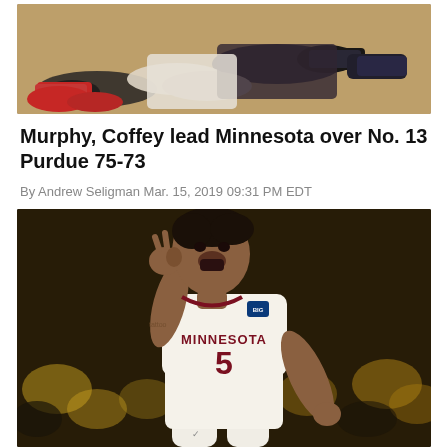[Figure (photo): Two basketball players on the floor scrambling for the ball, one player wearing dark uniform and the other in light uniform, hardwood court visible]
Murphy, Coffey lead Minnesota over No. 13 Purdue 75-73
By Andrew Seligman Mar. 15, 2019 09:31 PM EDT
[Figure (photo): Minnesota Gophers basketball player wearing number 5 jersey labeled MINNESOTA, celebrating with hand raised to head, mouth open, blurred crowd in background]